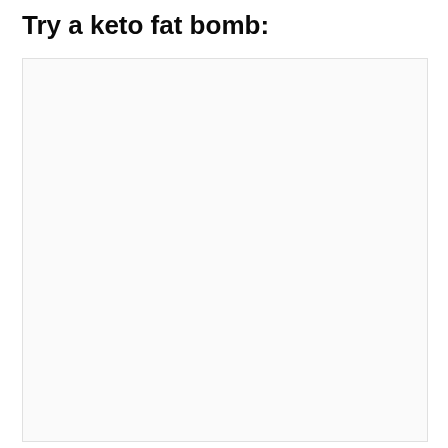Try a keto fat bomb:
[Figure (photo): A large mostly blank/white image placeholder area for a keto fat bomb photo]